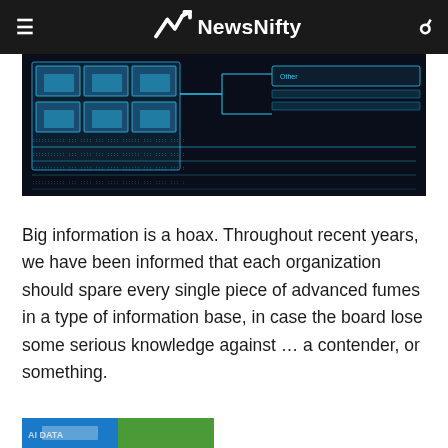NewsNifty
[Figure (screenshot): Dark-themed digital interface screenshot showing grid-like UI elements with cyan/blue highlights and scrolling data text on a dark background]
Big information is a hoax. Throughout recent years, we have been informed that each organization should spare every single piece of advanced fumes in a type of information base, in case the board lose some serious knowledge against … a contender, or something.
[Figure (photo): Partial bottom image strip, colorful outdoor scene partially visible]